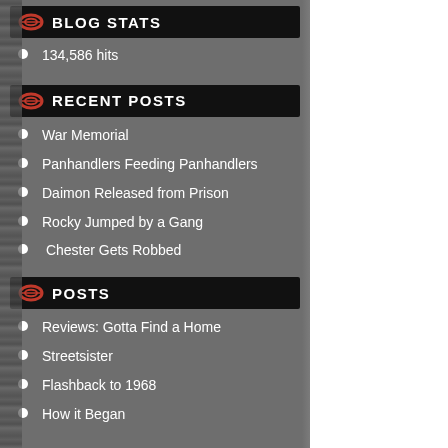BLOG STATS
134,586 hits
RECENT POSTS
War Memorial
Panhandlers Feeding Panhandlers
Daimon Released from Prison
Rocky Jumped by a Gang
Chester Gets Robbed
POSTS
Reviews: Gotta Find a Home
Streetsister
Flashback to 1968
How it Began